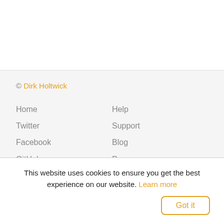© Dirk Holtwick
Home
Twitter
Facebook
GitHub
Newsletter
Help
Support
Blog
Press
Contact
Imprint
This website uses cookies to ensure you get the best experience on our website. Learn more
Got it